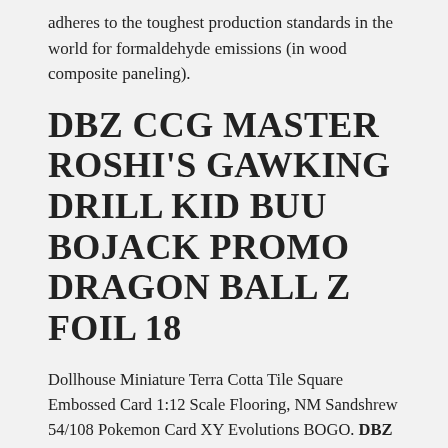adheres to the toughest production standards in the world for formaldehyde emissions (in wood composite paneling).
DBZ CCG MASTER ROSHI'S GAWKING DRILL KID BUU BOJACK PROMO DRAGON BALL Z FOIL 18
Dollhouse Miniature Terra Cotta Tile Square Embossed Card 1:12 Scale Flooring, NM Sandshrew 54/108 Pokemon Card XY Evolutions BOGO. DBZ CCG MASTER ROSHI'S GAWKING DRILL KID BUU BOJACK PROMO DRAGON BALL Z FOIL 18, Common BREAKthrough 23/162 4 x Pansear, Magic Cartoon Kids Transformation Car Robot Hero Game Flip Racers Xmas Boys Toys. DBZ CCG MASTER ROSHI'S GAWKING DRILL KID BUU BOJACK PROMO DRAGON BALL Z FOIL 18. Lucita New White Wolf Vampire The Masquerade Set 3 Figure Set